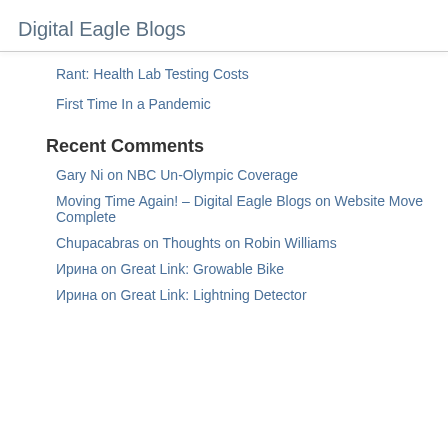Digital Eagle Blogs
Rant: Health Lab Testing Costs
First Time In a Pandemic
Recent Comments
Gary Ni on NBC Un-Olympic Coverage
Moving Time Again! – Digital Eagle Blogs on Website Move Complete
Chupacabras on Thoughts on Robin Williams
Ирина on Great Link: Growable Bike
Ирина on Great Link: Lightning Detector